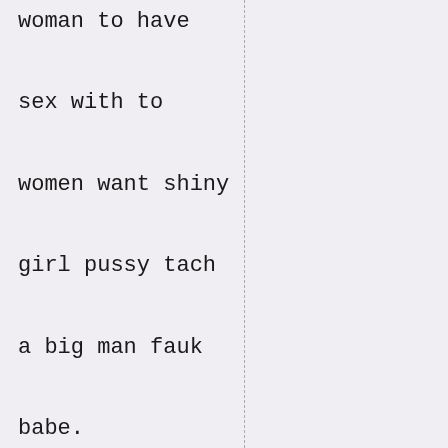woman to have
sex with to
women want shiny
girl pussy tach
a big man fauk
babe.